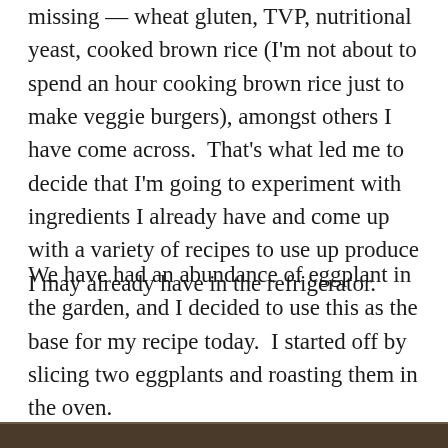missing — wheat gluten, TVP, nutritional yeast, cooked brown rice (I'm not about to spend an hour cooking brown rice just to make veggie burgers), amongst others I have come across.  That's what led me to decide that I'm going to experiment with ingredients I already have and come up with a variety of recipes to use up produce I may already have in the refrigerator.
We have had an abundance of eggplant in the garden, and I decided to use this as the base for my recipe today.  I started off by slicing two eggplants and roasting them in the oven.
[Figure (photo): Partial view of a food photo at the bottom of the page, cropped, showing roasted eggplant or similar dish.]